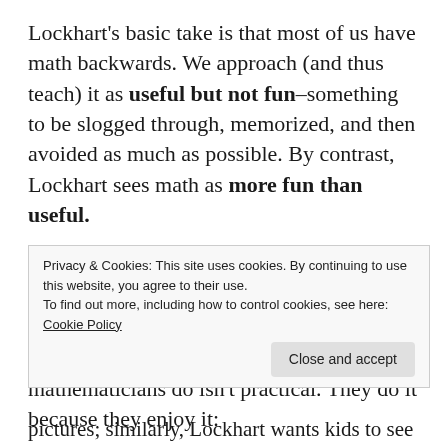Lockhart's basic take is that most of us have math backwards. We approach (and thus teach) it as useful but not fun–something to be slogged through, memorized, and then avoided as much as possible. By contrast, Lockhart sees math as more fun than useful.
I do not mean that Lockhart denies the utility of balancing your checkbook or calculating how much power your electrical grid can handle, but most of the math actual mathematicians do isn't practical. They do it because they enjoy it:
Privacy & Cookies: This site uses cookies. By continuing to use this website, you agree to their use.
To find out more, including how to control cookies, see here: Cookie Policy
Close and accept
pictures; similarly, Lockhart wants kids to see